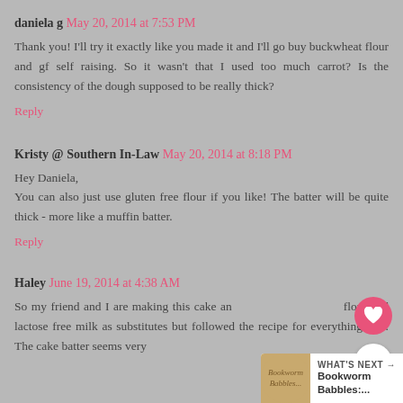daniela g  May 20, 2014 at 7:53 PM
Thank you! I'll try it exactly like you made it and I'll go buy buckwheat flour and gf self raising. So it wasn't that I used too much carrot? Is the consistency of the dough supposed to be really thick?
Reply
Kristy @ Southern In-Law  May 20, 2014 at 8:18 PM
Hey Daniela,
You can also just use gluten free flour if you like! The batter will be quite thick - more like a muffin batter.
Reply
Haley  June 19, 2014 at 4:38 AM
So my friend and I are making this cake and flour and lactose free milk as substitutes but followed the recipe for everything else. The cake batter seems very